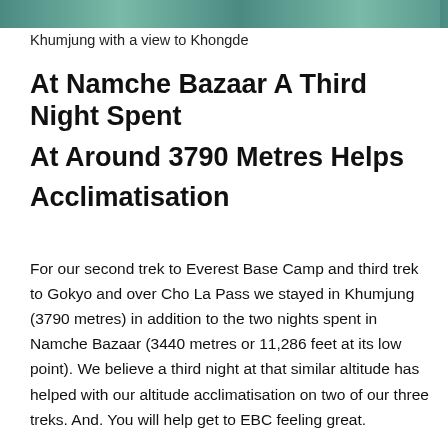[Figure (photo): Partial photograph of Khumjung with a view to Khongde, showing turquoise water or landscape at the top of the page]
Khumjung with a view to Khongde
At Namche Bazaar A Third Night Spent At Around 3790 Metres Helps Acclimatisation
For our second trek to Everest Base Camp and third trek to Gokyo and over Cho La Pass we stayed in Khumjung (3790 metres) in addition to the two nights spent in Namche Bazaar (3440 metres or 11,286 feet at its low point). We believe a third night at that similar altitude has helped with our altitude acclimatisation on two of our three treks. And. You will help get to EBC feeling great.